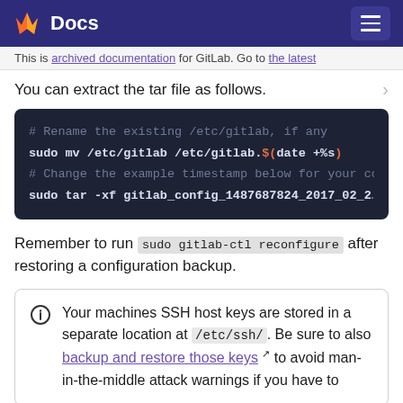Docs
This is archived documentation for GitLab. Go to the latest…
You can extract the tar file as follows.
[Figure (screenshot): Dark code block showing shell commands: # Rename the existing /etc/gitlab, if any; sudo mv /etc/gitlab /etc/gitlab.$(date +%s); # Change the example timestamp below for your co…; sudo tar -xf gitlab_config_1487687824_2017_02_2…]
Remember to run sudo gitlab-ctl reconfigure after restoring a configuration backup.
Your machines SSH host keys are stored in a separate location at /etc/ssh/. Be sure to also backup and restore those keys to avoid man-in-the-middle attack warnings if you have to…